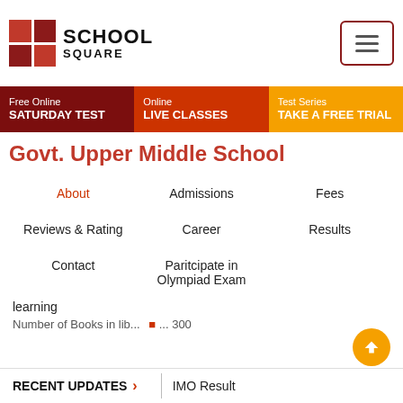[Figure (logo): School Square logo with red checkered grid and bold SCHOOL SQUARE text]
Free Online SATURDAY TEST | Online LIVE CLASSES | Test Series TAKE A FREE TRIAL
Govt. Upper Middle School
About
Admissions
Fees
Reviews & Rating
Career
Results
Contact
Paritcipate in Olympiad Exam
learning
RECENT UPDATES > | IMO Result